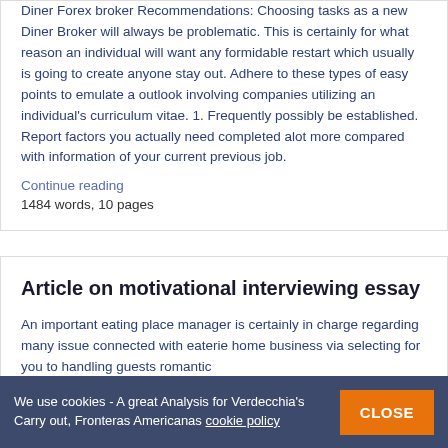Diner Forex broker Recommendations: Choosing tasks as a new Diner Broker will always be problematic. This is certainly for what reason an individual will want any formidable restart which usually is going to create anyone stay out. Adhere to these types of easy points to emulate a outlook involving companies utilizing an individual's curriculum vitae. 1. Frequently possibly be established. Report factors you actually need completed alot more compared with information of your current previous job.
Continue reading
1484 words, 10 pages
Article on motivational interviewing essay
An important eating place manager is certainly in charge regarding many issue connected with eaterie home business via selecting for you to handling guests romantic
We use cookies - A great Analysis for Verdecchia's Carry out, Fronteras Americanas cookie policy